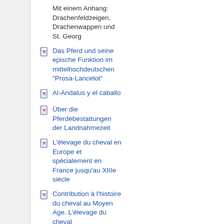Mit einem Anhang: Drachenfeldzeigen, Drachenwappen und St. Georg
Das Pferd und seine epische Funktion im mittelhochdeutschen "Prosa-Lancelot"
Al-Andalus y el caballo
Über die Pferdebestattungen der Landnahmezeit
L'élevage du cheval en Europe et spécialement en France jusqu'au XIIIe siècle
Contribution à l'histoire du cheval au Moyen Age. L'élevage du cheval
Contributions à l'histoire du cheval au